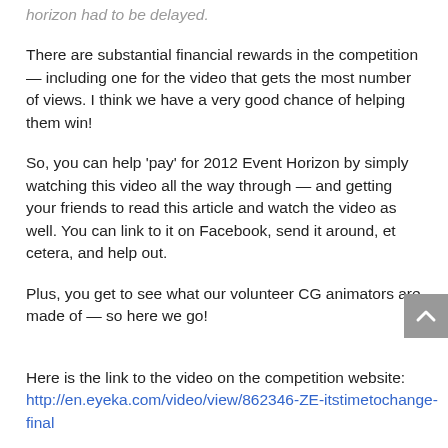horizon had to be delayed.
There are substantial financial rewards in the competition — including one for the video that gets the most number of views. I think we have a very good chance of helping them win!
So, you can help 'pay' for 2012 Event Horizon by simply watching this video all the way through — and getting your friends to read this article and watch the video as well. You can link to it on Facebook, send it around, et cetera, and help out.
Plus, you get to see what our volunteer CG animators are made of — so here we go!
Here is the link to the video on the competition website: http://en.eyeka.com/video/view/862346-ZE-itstimetochange-final